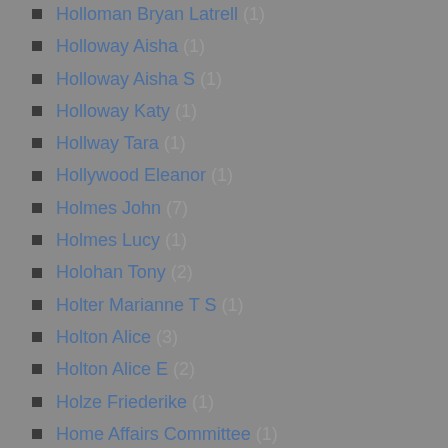Holloman Bryan Latrell (1)
Holloway Aisha (1)
Holloway Aisha S (1)
Holloway Katy (1)
Hollway Tara (1)
Hollywood Eleanor (1)
Holmes John (7)
Holmes Lucy (1)
Holohan Tony (2)
Holter Marianne T S (1)
Holton Alice (3)
Holton Alice E (2)
Holze Friederike (1)
Home Affairs Committee (1)
Home Office UK (35)
Homeless Agency (18)
Homeless Link (1)
Homeless Persons' Unit (1)
Homman Lina E (1)
Honess Terry (1)